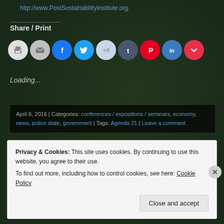http://www.PostSustainabilityInstitute.org.
Share / Print
[Figure (other): Row of social sharing icon buttons: print, email, Facebook, Twitter, Reddit, Tumblr, Pinterest, LinkedIn, Pocket]
Loading...
April 6, 2016 | Categories: conferences / expositions / seminars, economy, news, police state, government | Tags: Agenda 21 | Leave a comment
« Older Entries
Privacy & Cookies: This site uses cookies. By continuing to use this website, you agree to their use. To find out more, including how to control cookies, see here: Cookie Policy